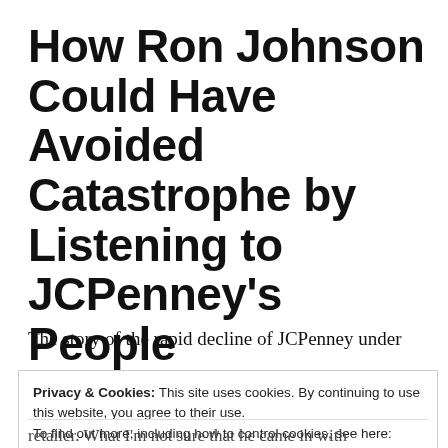How Ron Johnson Could Have Avoided Catastrophe by Listening to JCPenney's People
The story of the rapid decline of JCPenney under
Privacy & Cookies: This site uses cookies. By continuing to use this website, you agree to their use.
To find out more, including how to control cookies, see here:
Cookie Policy
[Close and accept]
retailer. What I'm not sure that he came in with